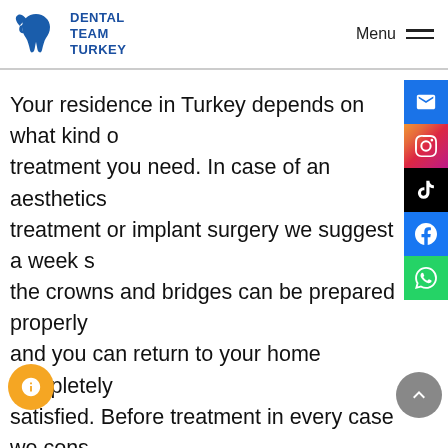Dental Team Turkey — Menu
Your residence in Turkey depends on what kind of treatment you need. In case of an aesthetics treatment or implant surgery we suggest a week so the crowns and bridges can be prepared properly and you can return to your home completely satisfied. Before treatment in every case we consult with our higly experienced and educated dentists and about the time interval and our customer service will provide you all the information you need.
You will return home with a new smile and great memories of your experience. Efficient and short treatment times, significant savings and outstanding results, is what we promise you!